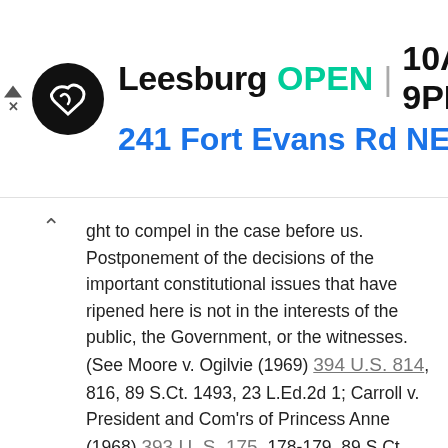[Figure (other): Advertisement banner for a store in Leesburg showing logo, open status 10AM-9PM, and address 241 Fort Evans Rd NE, Leesb]
ght to compel in the case before us. Postponement of the decisions of the important constitutional issues that have ripened here is not in the interests of the public, the Government, or the witnesses. (See Moore v. Ogilvie (1969) 394 U.S. 814, 816, 89 S.Ct. 1493, 23 L.Ed.2d 1; Carroll v. President and Com'rs of Princess Anne (1968) 393 U. S. 175, 178-179, 89 S.Ct. 347, 21 L.Ed.2d 325; Sibron v. New York (1968) 392 U.S. 40, 50-58, 88 S.Ct. 1889, 20 L.Ed. 2d 917; Carafas v. LaVallee (1968) 391 U.S. 234, 237-240, 88 S.Ct. 1556, 20 L. Ed.2d 554; Division 1287 of Amalgamated Ass'n of St., Electric Ry. & Motor Coach Employees v. Missouri (1963) 374 U.S. 74, 77-78, 83 S.Ct. 1657, 10 L.Ed.2d 763, rehearing denied, 375 U.S. 870, 84 S.Ct. 29, 11 L.Ed.2d 100; Gray v. Sanders (1963) 372 U.S. 368, 375-376, 83 S. Ct. 801, 9 L.Ed.2d 821; United States v. W. T. Grant Co. (1953) 345 U.S. 629, 632-633, 73 S.Ct. 894, 97 L.Ed. 1303; Southern Pac. Terminal Co. v. Interstate Commerce Comm. (1911) 219 U.S. 498, 514-516, 31 S.Ct. 279, 55 L.Ed. 310; United States v. Trans-Missouri 166 U.S. 290